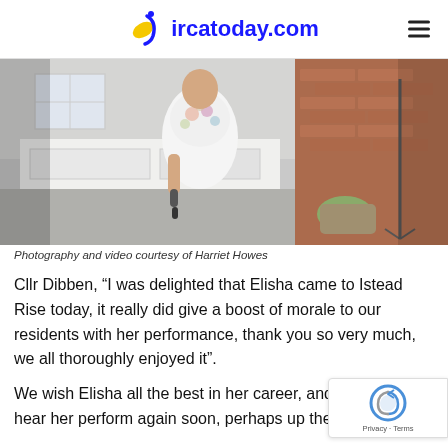ircatoday.com
[Figure (photo): Woman in white floral dress performing outdoors, holding a microphone, with audio equipment and a brick wall in the background]
Photography and video courtesy of Harriet Howes
Cllr Dibben, “I was delighted that Elisha came to Istead Rise today, it really did give a boost of morale to our residents with her performance, thank you so very much, we all thoroughly enjoyed it”.
We wish Elisha all the best in her career, and would lo hear her perform again soon, perhaps up the Community